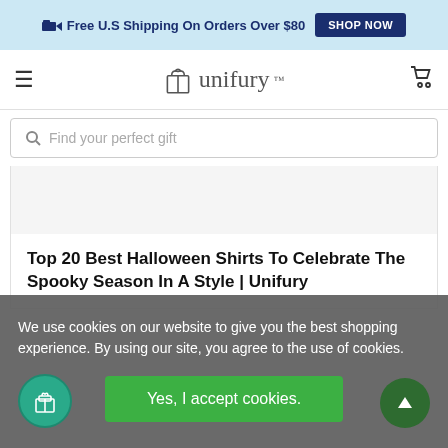Free U.S Shipping On Orders Over $80 SHOP NOW
[Figure (logo): Unifury logo with gift box icon and text unifury]
Find your perfect gift
Top 20 Best Halloween Shirts To Celebrate The Spooky Season In A Style | Unifury
We use cookies on our website to give you the best shopping experience. By using our site, you agree to the use of cookies.
Yes, I accept cookies.